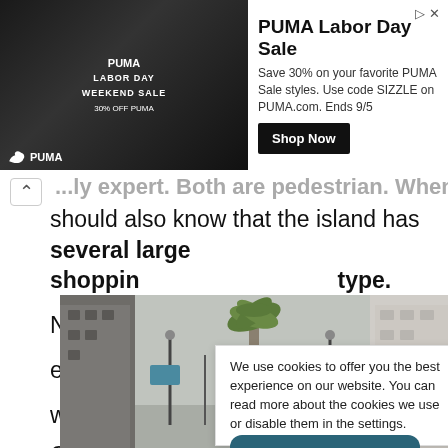[Figure (photo): PUMA Labor Day Weekend Sale advertisement banner with athlete image on left, ad text in center, and Shop Now button]
...ly expert. Both are pedestrian. When you should also know that the island has several large shopping ... type.
Next, we ... out each co ... rwards, we will b ... n Canaria.
We use cookies to offer you the best experience on our website. You can read more about the cookies we use or disable them in the settings.
[Figure (photo): Street view of a shopping street in Gran Canaria with palm trees, historic buildings, street lamps, and pedestrians]